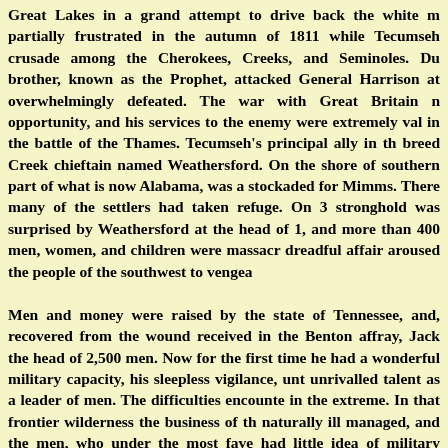Great Lakes in a grand attempt to drive back the white m partially frustrated in the autumn of 1811 while Tecumseh crusade among the Cherokees, Creeks, and Seminoles. Du brother, known as the Prophet, attacked General Harrison at overwhelmingly defeated. The war with Great Britain opportunity, and his services to the enemy were extremely val in the battle of the Thames. Tecumseh's principal ally in th breed Creek chieftain named Weathersford. On the shore of southern part of what is now Alabama, was a stockaded for Mimms. There many of the settlers had taken refuge. On 3 stronghold was surprised by Weathersford at the head of 1, and more than 400 men, women, and children were massacr dreadful affair aroused the people of the southwest to vengea
Men and money were raised by the state of Tennessee, and, recovered from the wound received in the Benton affray, Jack the head of 2,500 men. Now for the first time he had a wonderful military capacity, his sleepless vigilance, unt unrivalled talent as a leader of men. The difficulties encounte in the extreme. In that frontier wilderness the business of th naturally ill managed, and the men, who under the most fave had little idea of military subordination, were part of the hunger. More than once Jackson was obliged to use one half the other half from disbanding. In view of these difficultie movements and the force with which he struck the enemy w